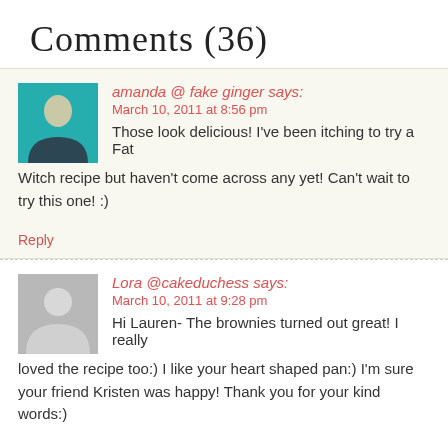Comments (36)
amanda @ fake ginger says:
March 10, 2011 at 8:56 pm
Those look delicious! I've been itching to try a Fat Witch recipe but haven't come across any yet! Can't wait to try this one! :)
Reply
Lora @cakeduchess says:
March 10, 2011 at 9:28 pm
Hi Lauren- The brownies turned out great! I really loved the recipe too:) I like your heart shaped pan:) I'm sure your friend Kristen was happy! Thank you for your kind words:)
Reply
DyingforChocolate says:
March 10, 2011 at 9:59 pm